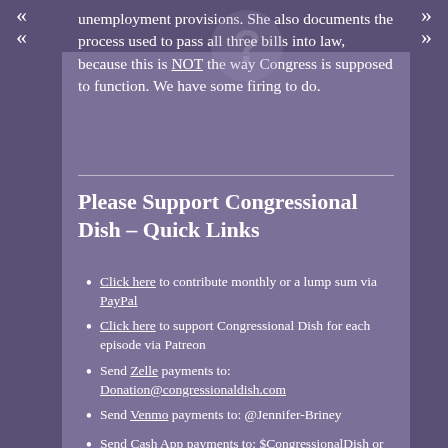unemployment provisions. She also documents the process used to pass all three bills into law, because this is NOT the way Congress is supposed to function. We have some firing to do.
Please Support Congressional Dish – Quick Links
Click here to contribute monthly or a lump sum via PayPal
Click here to support Congressional Dish for each episode via Patreon
Send Zelle payments to: Donation@congressionaldish.com
Send Venmo payments to: @Jennifer-Briney
Send Cash App payments to: $CongressionalDish or Donation@congressionaldish.com
Use your bank's online bill pay function to